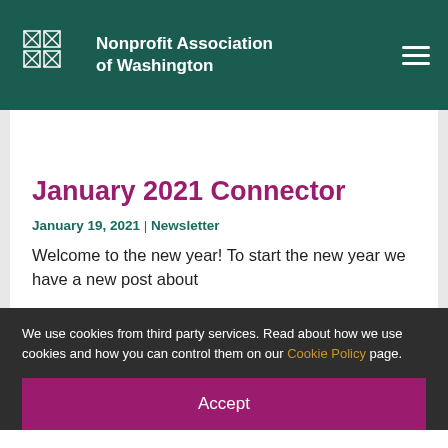Nonprofit Association of Washington
January 2021 Connector
January 19, 2021 | Newsletter
Welcome to the new year! To start the new year we have a new post about
We use cookies from third party services. Read about how we use cookies and how you can control them on our Cookie Policy page.
Accept